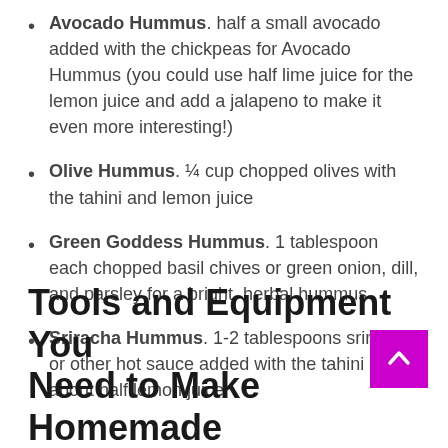Avocado Hummus. half a small avocado added with the chickpeas for Avocado Hummus (you could use half lime juice for the lemon juice and add a jalapeno to make it even more interesting!)
Olive Hummus. ¼ cup chopped olives with the tahini and lemon juice
Green Goddess Hummus. 1 tablespoon each chopped basil chives or green onion, dill, and parsley for a bright, herbal hummus
Sriracha Hummus. 1-2 tablespoons sriracha or other hot sauce added with the tahini and about half lemon juice
Tools and Equipment You Need to Make Homemade